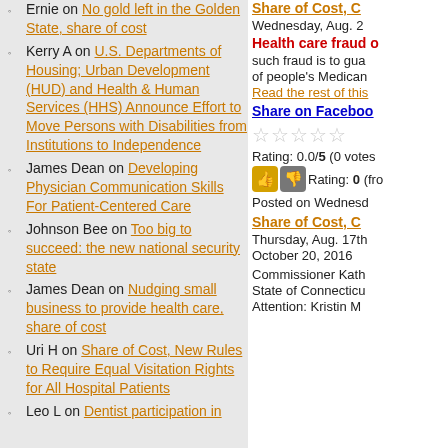Ernie on No gold left in the Golden State, share of cost
Kerry A on U.S. Departments of Housing; Urban Development (HUD) and Health & Human Services (HHS) Announce Effort to Move Persons with Disabilities from Institutions to Independence
James Dean on Developing Physician Communication Skills For Patient-Centered Care
Johnson Bee on Too big to succeed: the new national security state
James Dean on Nudging small business to provide health care, share of cost
Uri H on Share of Cost, New Rules to Require Equal Visitation Rights for All Hospital Patients
Leo L on Dentist participation in
Wednesday, Aug. 2
Health care fraud o
such fraud is to gua
of people's Medican
Read the rest of this
Share on Facebook
Rating: 0.0/5 (0 votes
Rating: 0 (fro
Posted on Wednesd
Share of Cost, C
Thursday, Aug. 17th
October 20, 2016
Commissioner Kath
State of Connecticu
Attention: Kristin M